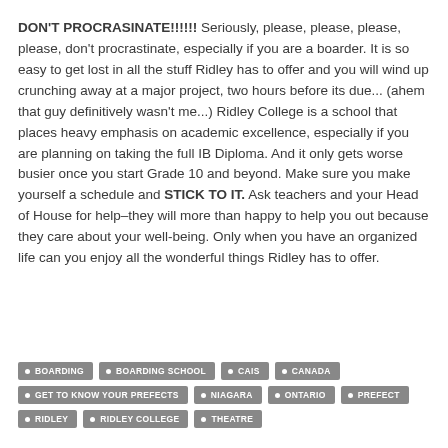DON'T PROCRASINATE!!!!!! Seriously, please, please, please, please, don't procrastinate, especially if you are a boarder. It is so easy to get lost in all the stuff Ridley has to offer and you will wind up crunching away at a major project, two hours before its due... (ahem that guy definitively wasn't me...) Ridley College is a school that places heavy emphasis on academic excellence, especially if you are planning on taking the full IB Diploma. And it only gets worse busier once you start Grade 10 and beyond. Make sure you make yourself a schedule and STICK TO IT. Ask teachers and your Head of House for help–they will more than happy to help you out because they care about your well-being. Only when you have an organized life can you enjoy all the wonderful things Ridley has to offer.
BOARDING
BOARDING SCHOOL
CAIS
CANADA
GET TO KNOW YOUR PREFECTS
NIAGARA
ONTARIO
PREFECT
RIDLEY
RIDLEY COLLEGE
THEATRE